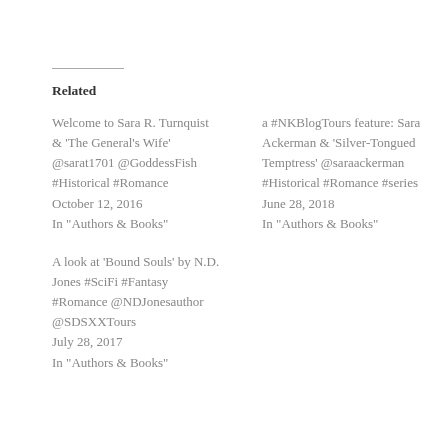Related
Welcome to Sara R. Turnquist & 'The General's Wife' @sarat1701 @GoddessFish #Historical #Romance
October 12, 2016
In "Authors & Books"
a #NKBlogTours feature: Sara Ackerman & 'Silver-Tongued Temptress' @saraackerman #Historical #Romance #series
June 28, 2018
In "Authors & Books"
A look at 'Bound Souls' by N.D. Jones #SciFi #Fantasy #Romance @NDJonesauthor @SDSXXTours
July 28, 2017
In "Authors & Books"